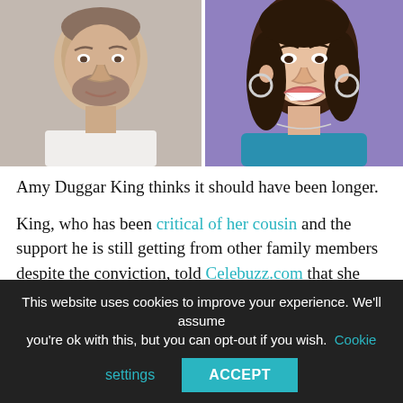[Figure (photo): Two side-by-side photos: left photo shows a man (Josh Duggar) in a white shirt with a neutral/slight smile expression; right photo shows a woman (Amy Duggar King) smiling broadly, wearing a teal/blue top with hoop earrings, brown curly hair.]
Amy Duggar King thinks it should have been longer.
King, who has been critical of her cousin and the support he is still getting from other family members despite the conviction, told Celebuzz.com that she would have liked to see a harsher sentence.
This website uses cookies to improve your experience. We'll assume you're ok with this, but you can opt-out if you wish. Cookie settings ACCEPT